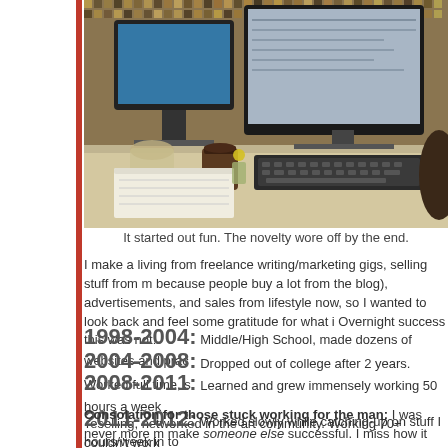[Figure (photo): Office cubicle desk with computer monitors, keyboard, notebook paper, coffee cup, and decorative mosaic wall background]
It started out fun. The novelty wore off by the end.
I make a living from freelance writing/marketing gigs, selling stuff from m... because people buy a lot from the blog), advertisements, and sales from... lifestyle now, so I wanted to look back and feel some gratitude for what i... Overnight success this was not!
1998-2004: Middle/High School, made dozens of websites and prac...
2004-2008: Dropped out of college after 2 years. Worked full time, s...
2008-2011: Learned and grew immensely working 50 hours a week... reselling, networked in the art community. Working 70+ hours/week in to...
2011-2012: Worked slowly while catching-up on stuff I couldn't work...
Consolation for those stuck working for the man: I was never more... make someone else successful. I miss how it kept me hungry for succes...